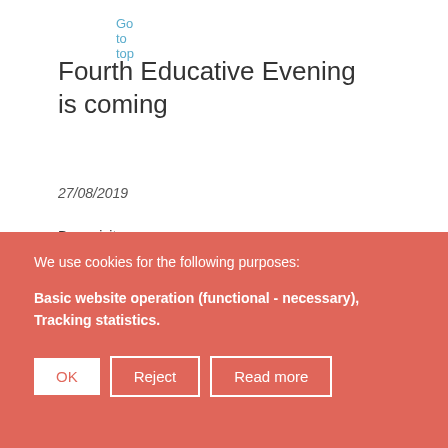Go to top
Fourth Educative Evening is coming
27/08/2019
Dear visitor,
We use cookies for the following purposes:
Basic website operation (functional - necessary), Tracking statistics.
OK
Reject
Read more